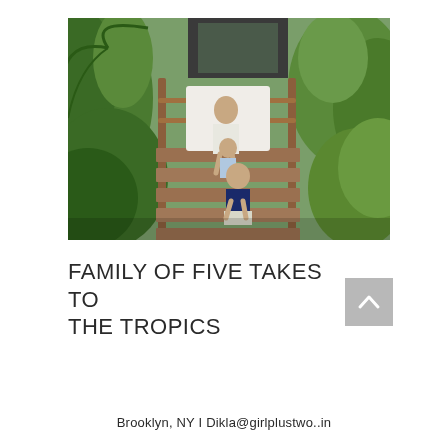[Figure (photo): A family photo on wooden stairs surrounded by lush tropical greenery. A woman and child sit on upper steps while a young boy in a navy shirt sits on lower steps.]
FAMILY OF FIVE TAKES TO THE TROPICS
Brooklyn, NY | Dikla@girlplustwo..in